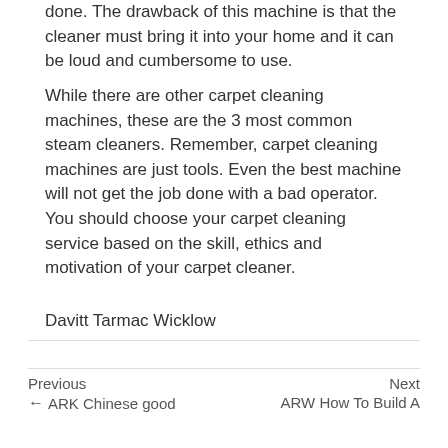done. The drawback of this machine is that the cleaner must bring it into your home and it can be loud and cumbersome to use.
While there are other carpet cleaning machines, these are the 3 most common steam cleaners. Remember, carpet cleaning machines are just tools. Even the best machine will not get the job done with a bad operator. You should choose your carpet cleaning service based on the skill, ethics and motivation of your carpet cleaner.
Davitt Tarmac Wicklow
Previous ← ARK Chinese good    Next ARW How To Build A